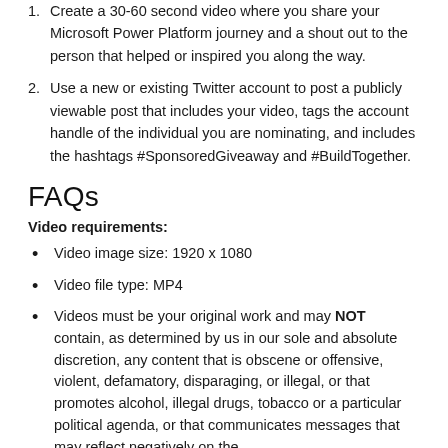1. Create a 30-60 second video where you share your Microsoft Power Platform journey and a shout out to the person that helped or inspired you along the way.
2. Use a new or existing Twitter account to post a publicly viewable post that includes your video, tags the account handle of the individual you are nominating, and includes the hashtags #SponsoredGiveaway and #BuildTogether.
FAQs
Video requirements:
Video image size: 1920 x 1080
Video file type: MP4
Videos must be your original work and may NOT contain, as determined by us in our sole and absolute discretion, any content that is obscene or offensive, violent, defamatory, disparaging, or illegal, or that promotes alcohol, illegal drugs, tobacco or a particular political agenda, or that communicates messages that may reflect negatively on the